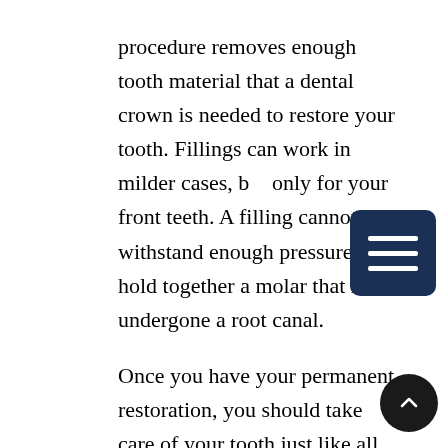procedure removes enough tooth material that a dental crown is needed to restore your tooth. Fillings can work in milder cases, but only for your front teeth. A filling cannot withstand enough pressure to hold together a molar that has undergone a root canal.

Once you have your permanent restoration, you should take care of your tooth just like all your others. Though a crown or filling will